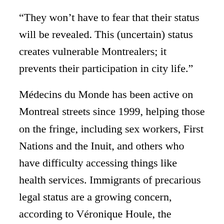“They won’t have to fear that their status will be revealed. This (uncertain) status creates vulnerable Montrealers; it prevents their participation in city life.”
Médecins du Monde has been active on Montreal streets since 1999, helping those on the fringe, including sex workers, First Nations and the Inuit, and others who have difficulty accessing things like health services. Immigrants of precarious legal status are a growing concern, according to Véronique Houle, the association’s director of national operations.
Houle cited studies showing that 60 per cent of these immigrants eventually become residents, but it can take more than three years to normalize their status; 90 per cent live in poverty; 71 per cent limit their displacement in the city out of fear of being stopped by police or immigration services; 29